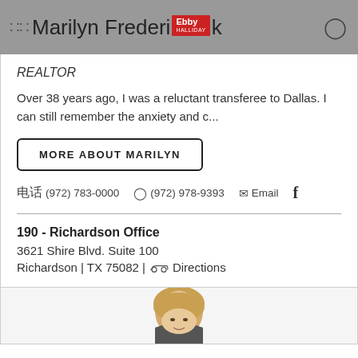:: Marilyn Frederick [Ebby logo]
REALTOR
Over 38 years ago, I was a reluctant transferee to Dallas. I can still remember the anxiety and c...
MORE ABOUT MARILYN
(972) 783-0000   (972) 978-9393   Email   f
190 - Richardson Office
3621 Shire Blvd. Suite 100
Richardson | TX 75082 | Directions
[Figure (photo): Partial photo of a woman with blonde hair at the bottom of the page]